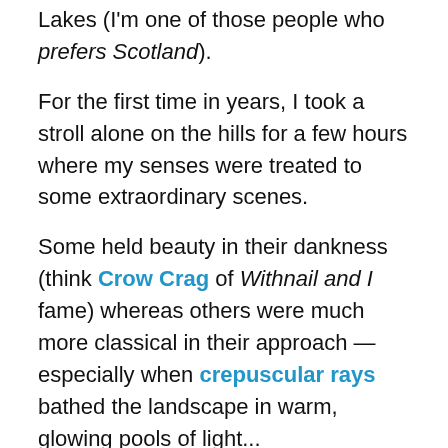Lakes (I'm one of those people who prefers Scotland).
For the first time in years, I took a stroll alone on the hills for a few hours where my senses were treated to some extraordinary scenes.
Some held beauty in their dankness (think Crow Crag of Withnail and I fame) whereas others were much more classical in their approach — especially when crepuscular rays bathed the landscape in warm, glowing pools of light...
[Figure (photo): Landscape photograph showing misty grey sky with hills and a dark silhouette in the foreground, likely Scottish highlands scenery]